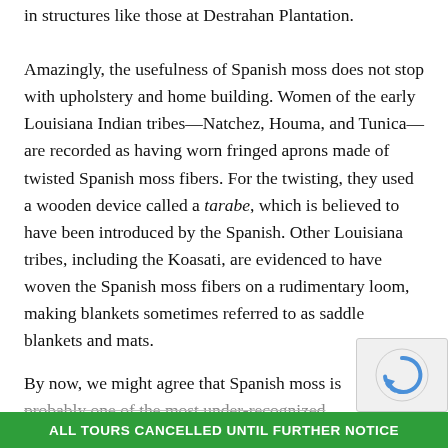in structures like those at Destrahan Plantation.
Amazingly, the usefulness of Spanish moss does not stop with upholstery and home building. Women of the early Louisiana Indian tribes—Natchez, Houma, and Tunica—are recorded as having worn fringed aprons made of twisted Spanish moss fibers. For the twisting, they used a wooden device called a tarabe, which is believed to have been introduced by the Spanish. Other Louisiana tribes, including the Koasati, are evidenced to have woven the Spanish moss fibers on a rudimentary loom, making blankets sometimes referred to as saddle blankets and mats.
By now, we might agree that Spanish moss is probably one of the most under-recognized and...
ALL TOURS CANCELLED UNTIL FURTHER NOTICE